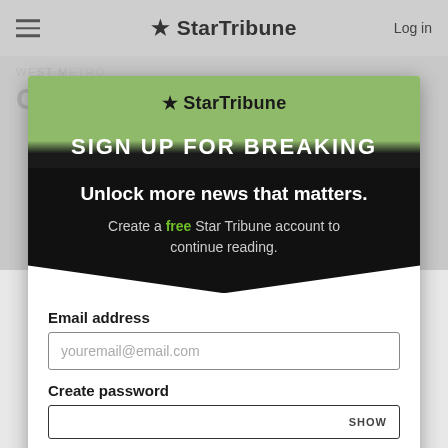[Figure (screenshot): Star Tribune website navigation bar with hamburger menu icon, Star Tribune logo, and Log in link on a gray background]
[Figure (screenshot): Star Tribune sign-up modal overlay with green header showing star logo, dark band with 'SIGN UP FOR BREAKING' text, black section with 'Unlock more news that matters.' headline, form fields for email address and password with 'Create an account' button, and terms of service notice]
Unlock more news that matters.
Create a free Star Tribune account to continue reading.
Email address
youremail@email.com
Create password
SHOW
Create an account
By continuing you agree to the Terms of Service and